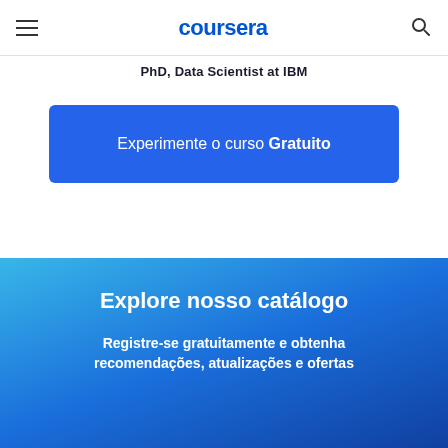coursera
PhD, Data Scientist at IBM
Experimente o curso Gratuito
Explore nosso catálogo
Registre-se gratuitamente e obtenha recomendações, atualizações e ofertas